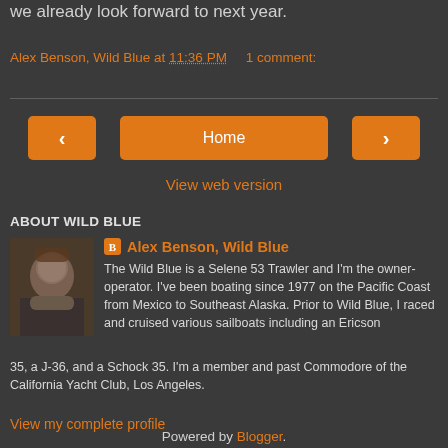we already look forward to next year.
Alex Benson, Wild Blue at 11:36 PM    1 comment:
Home
View web version
ABOUT WILD BLUE
Alex Benson, Wild Blue
The Wild Blue is a Selene 53 Trawler and I'm the owner-operator. I've been boating since 1977 on the Pacific Coast from Mexico to Southeast Alaska. Prior to Wild Blue, I raced and cruised various sailboats including an Ericson 35, a J-36, and a Schock 35. I'm a member and past Commodore of the California Yacht Club, Los Angeles.
View my complete profile
Powered by Blogger.